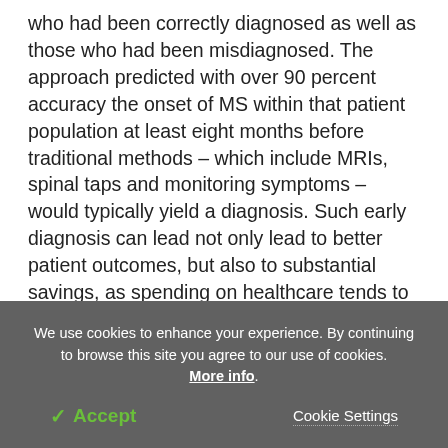who had been correctly diagnosed as well as those who had been misdiagnosed. The approach predicted with over 90 percent accuracy the onset of MS within that patient population at least eight months before traditional methods – which include MRIs, spinal taps and monitoring symptoms – would typically yield a diagnosis. Such early diagnosis can lead not only lead to better patient outcomes, but also to substantial savings, as spending on healthcare tends to accelerate prior to a definite diagnosis. The approach taken with multiple sclerosis can be applied to any disease.
We use cookies to enhance your experience. By continuing to browse this site you agree to our use of cookies. More info.
✓ Accept
Cookie Settings